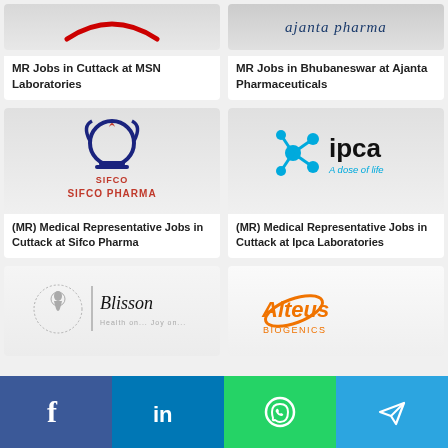[Figure (logo): MSN Laboratories logo - red arc on grey background]
MR Jobs in Cuttack at MSN Laboratories
[Figure (logo): Ajanta Pharma logo in blue italic text on grey background]
MR Jobs in Bhubaneswar at Ajanta Pharmaceuticals
[Figure (logo): Sifco Pharma logo with red and blue emblem]
(MR) Medical Representative Jobs in Cuttack at Sifco Pharma
[Figure (logo): IPCA Laboratories logo - blue molecule icon with 'ipca A dose of life' text]
(MR) Medical Representative Jobs in Cuttack at Ipca Laboratories
[Figure (logo): Blisson Health on Joy on logo]
[Figure (logo): Alteus Biogenics logo in orange]
[Figure (infographic): Social media share bar: Facebook (blue), LinkedIn (blue), WhatsApp (green), Telegram (light blue)]